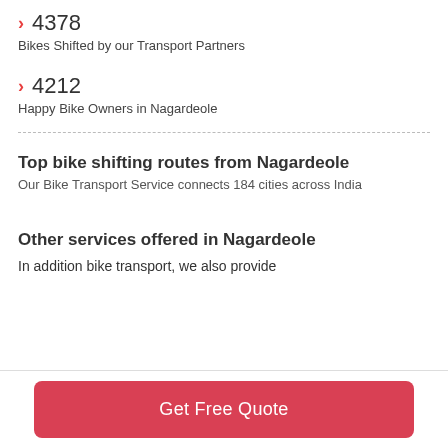> 4378
Bikes Shifted by our Transport Partners
> 4212
Happy Bike Owners in Nagardeole
Top bike shifting routes from Nagardeole
Our Bike Transport Service connects 184 cities across India
Other services offered in Nagardeole
In addition bike transport, we also provide
Get Free Quote